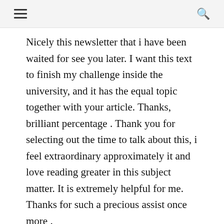≡  🔍
Nicely this newsletter that i have been waited for see you later. I want this text to finish my challenge inside the university, and it has the equal topic together with your article. Thanks, brilliant percentage . Thank you for selecting out the time to talk about this, i feel extraordinary approximately it and love reading greater in this subject matter. It is extremely helpful for me. Thanks for such a precious assist once more .